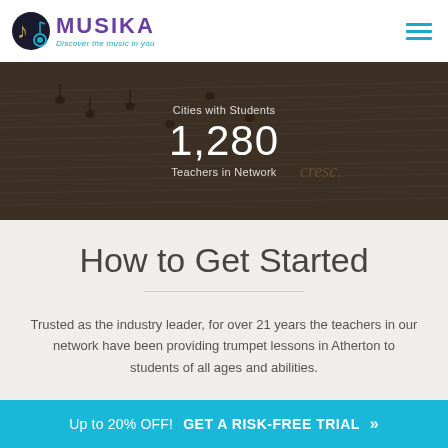[Figure (logo): Musika logo with treble clef icon, purple MUSIKA text, and cyan tagline 'Discover the music in you']
[Figure (photo): Hero banner with sheet music background image, darkened overlay, showing 'Cities with Students' label, '1,280' in large text, and 'Teachers in Network' sublabel]
How to Get Started
Trusted as the industry leader, for over 21 years the teachers in our network have been providing trumpet lessons in Atherton to students of all ages and abilities.
Up to 20% OFF!  GET A RISK-FREE TRIAL »